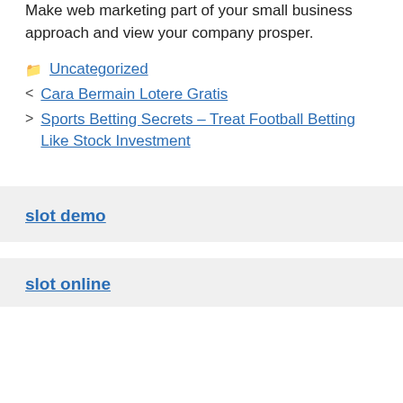Make web marketing part of your small business approach and view your company prosper.
Uncategorized
< Cara Bermain Lotere Gratis
> Sports Betting Secrets – Treat Football Betting Like Stock Investment
slot demo
slot online